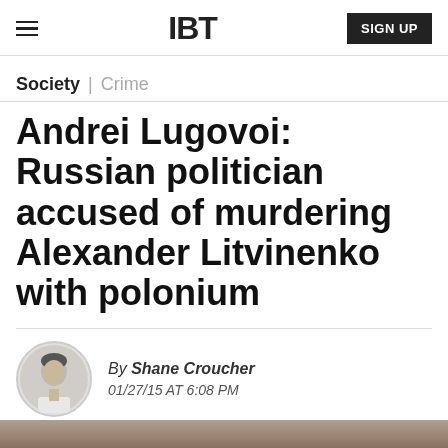IBT | SIGN UP
Society | Crime
Andrei Lugovoi: Russian politician accused of murdering Alexander Litvinenko with polonium
By Shane Croucher
01/27/15 AT 6:08 PM
[Figure (illustration): Social sharing buttons: Facebook, Twitter, LinkedIn, Reddit, Flipboard, Email, Comment]